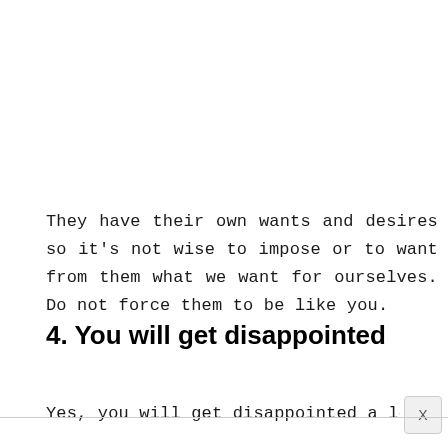They have their own wants and desires so it's not wise to impose or to want from them what we want for ourselves. Do not force them to be like you.
4. You will get disappointed
Yes, you will get disappointed a lot, especially whe